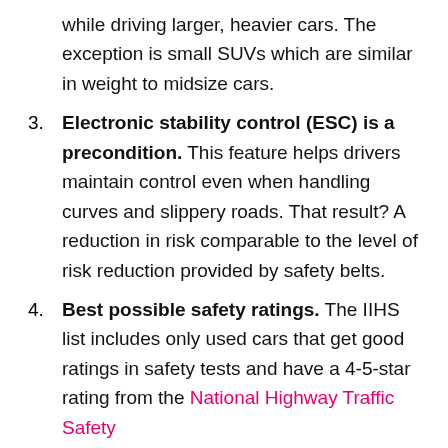while driving larger, heavier cars. The exception is small SUVs which are similar in weight to midsize cars.
3. Electronic stability control (ESC) is a precondition. This feature helps drivers maintain control even when handling curves and slippery roads. That result? A reduction in risk comparable to the level of risk reduction provided by safety belts.
4. Best possible safety ratings. The IIHS list includes only used cars that get good ratings in safety tests and have a 4-5-star rating from the National Highway Traffic Safety